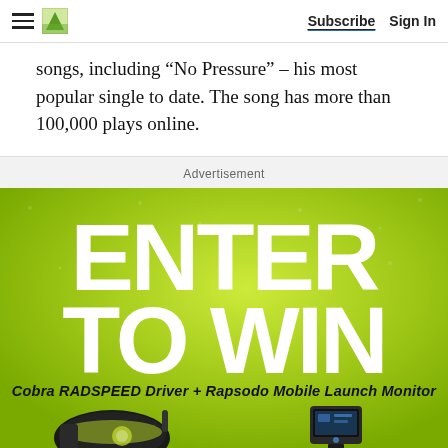Subscribe  Sign In
songs, including “No Pressure” – his most popular single to date. The song has more than 100,000 plays online.
Advertisement
[Figure (infographic): Advertisement banner with green background. Large white bold text reads 'ENTER TO WIN'. Below in black italic bold text: 'Cobra RADSPEED Driver + Rapsodo Mobile Launch Monitor'. At the bottom are product images of a golf driver and a launch monitor device.]